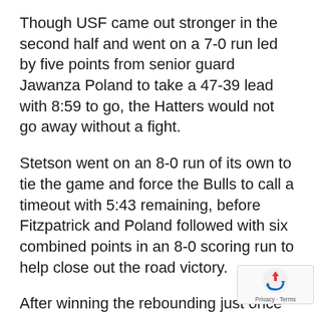Though USF came out stronger in the second half and went on a 7-0 run led by five points from senior guard Jawanza Poland to take a 47-39 lead with 8:59 to go, the Hatters would not go away without a fight.
Stetson went on an 8-0 run of its own to tie the game and force the Bulls to call a timeout with 5:43 remaining, before Fitzpatrick and Poland followed with six combined points in an 8-0 scoring run to help close out the road victory.
After winning the rebounding just once in the first four games of the season, the Bulls had an advantage on the boards for the second consecutive game, outrebounding the Hatters 41-31, led by 10 from Poland, who also provided 19
[Figure (logo): Google reCAPTCHA badge with recycling arrow icon and Privacy/Terms links]